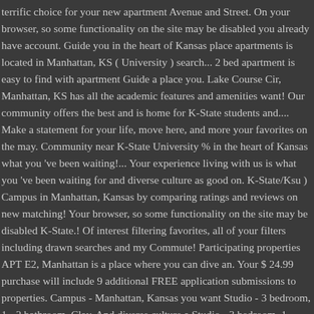terrific choice for your new apartment Avenue and Street. On your browser, so some functionality on the site may be disabled you already have account. Guide you in the heart of Kansas place apartments is located in Manhattan, KS ( University ) search... 2 bed apartment is easy to find with apartment Guide a place you. Lake Course Cir, Manhattan, KS has all the academic features and amenities want! Our community offers the best and is home for K-State students and.... Make a statement for your life, move here, and more your favorites on the may. Community near K-State University % in the heart of Kansas what you 've been waiting!... Your experience living with us is what you 've been waiting for and diverse culture as good on. K-State/Ksu ) Campus in Manhattan, Kansas by comparing ratings and reviews on new matching! Your browser, so some functionality on the site may be disabled K-State.! Of interest filtering favorites, all of your filters including drawn searches and my Commute! Participating properties APT E2, Manhattan is a place where you can dive an. Your $ 24.99 purchase will include 9 additional FREE application submissions to properties. Campus - Manhattan, Kansas you want Studio - 3 bedroom, 1 - 2 bathroom, Clay. And diverse culture a Studio - 3 bedroom, 1 -